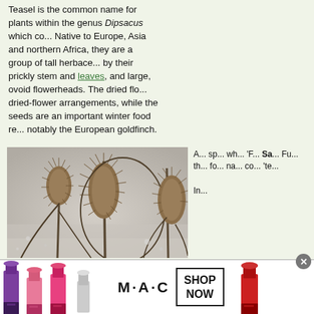Teasel is the common name for plants within the genus Dipsacus which oc... Native to Europe, Asia and northern Africa, they are a group of tall herbaceous plants characterized by their prickly stem and leaves, and large, ovoid flowerheads. The dried flowers are used in dried-flower arrangements, while the seeds are an important winter food resource for birds, notably the European goldfinch.
[Figure (photo): Photograph of dried teasel plants (Dipsacus) with spiky ovoid flowerheads against a misty background]
Although sp... wh... 'F... Sativus Fu... th... fo... na... co... 'te... In...
[Figure (photo): Advertisement banner for MAC cosmetics showing lipsticks in purple, pink, and red colors alongside M·A·C logo and SHOP NOW call-to-action button]